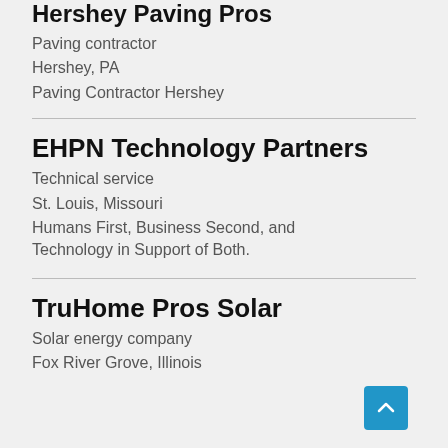Hershey Paving Pros (partial)
Paving contractor
Hershey, PA
Paving Contractor Hershey
EHPN Technology Partners
Technical service
St. Louis, Missouri
Humans First, Business Second, and Technology in Support of Both.
TruHome Pros Solar
Solar energy company
Fox River Grove, Illinois